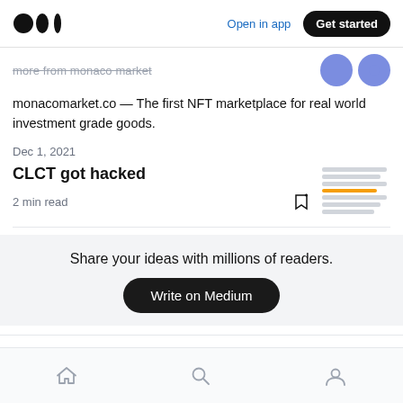Medium — Open in app  Get started
more from monaco market
monacomarket.co — The first NFT marketplace for real world investment grade goods.
Dec 1, 2021
CLCT got hacked
2 min read
Share your ideas with millions of readers.
Write on Medium